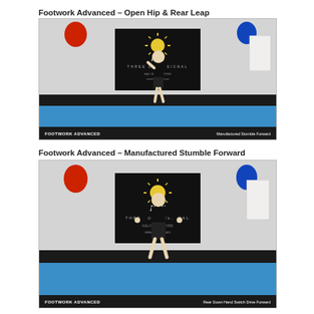Footwork Advanced – Open Hip & Rear Leap
[Figure (photo): Martial arts instructor in black uniform standing on blue mat in fighting stance, in front of a black banner reading 'Kali Three Dimensional'. Red and blue decorations on white wall. Bottom bar reads 'FOOTWORK ADVANCED' on left and 'Manufactured Stumble Forward' on right.]
Footwork Advanced – Manufactured Stumble Forward
[Figure (photo): Martial arts instructor in black uniform with arms extended, standing on blue mat in motion, in front of same black banner. Bottom bar reads 'FOOTWORK ADVANCED' on left and 'Rear Down Hand Switch Drive Forward' on right.]